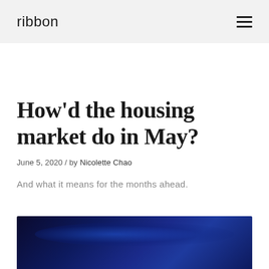ribbon
How'd the housing market do in May?
June 5, 2020  /  by Nicolette Chao
And what it means for the months ahead.
[Figure (photo): Dark blue abstract background image, possibly an aerial or abstract scene with deep blue tones]